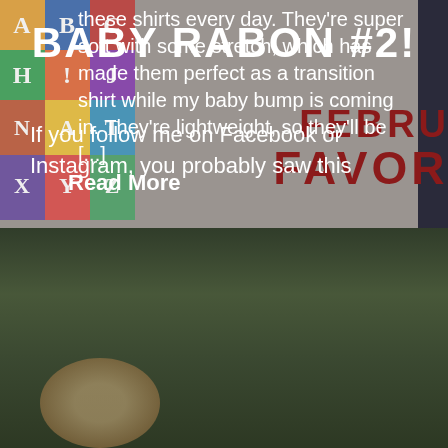[Figure (photo): Top blog post section with gray background, colorful alphabet/toy image on left, text overlay about shirts, and 'February Favorites' graphic overlay in dark red]
these shirts every day. They're super soft with some stretch, which has made them perfect as a transition shirt while my baby bump is coming in. They're lightweight, so they'll be [...]
Read More
[Figure (photo): Bottom blog post section with dark outdoor/nature background showing a child smiling, with 'Baby Rabon #2!' title and text beginning 'If you follow me on Facebook or Instagram, you probably saw this']
BABY RABON #2!
If you follow me on Facebook or Instagram, you probably saw this